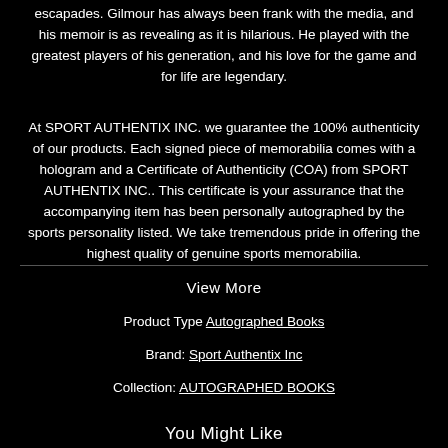escapades. Gilmour has always been frank with the media, and his memoir is as revealing as it is hilarious. He played with the greatest players of his generation, and his love for the game and for life are legendary.
At SPORT AUTHENTIX INC. we guarantee the 100% authenticity of our products. Each signed piece of memorabilia comes with a hologram and a Certificate of Authenticity (COA) from SPORT AUTHENTIX INC.. This certificate is your assurance that the accompanying item has been personally autographed by the sports personality listed. We take tremendous pride in offering the highest quality of genuine sports memorabilia.
View More
Product Type Autographed Books
Brand: Sport Authentix Inc
Collection: AUTOGRAPHED BOOKS
You Might Like